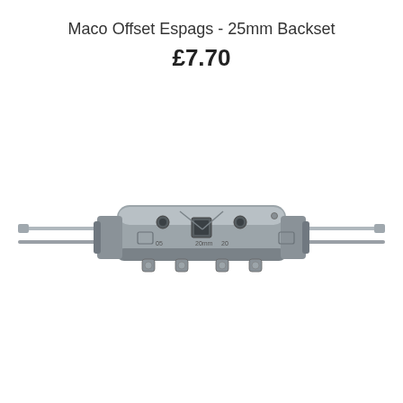Maco Offset Espags - 25mm Backset
£7.70
[Figure (photo): A Maco offset espagnolette lock mechanism with 25mm backset, shown from the front. The metal lock body is silver/grey, with a central square spindle hole, two circular holes, and embossed markings. Long metal drive rods extend horizontally from both sides of the lock body with adjustment clips visible.]